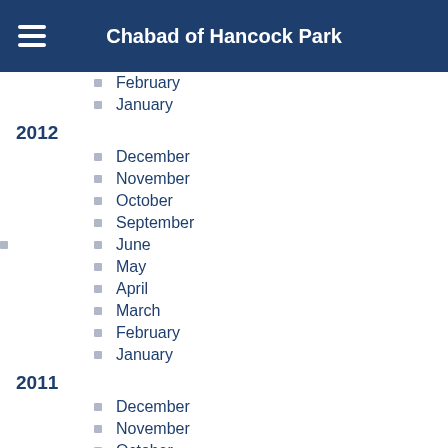Chabad of Hancock Park
February
January
2012
December
November
October
September
June
May
April
March
February
January
2011
December
November
October
September
August
July
June
May